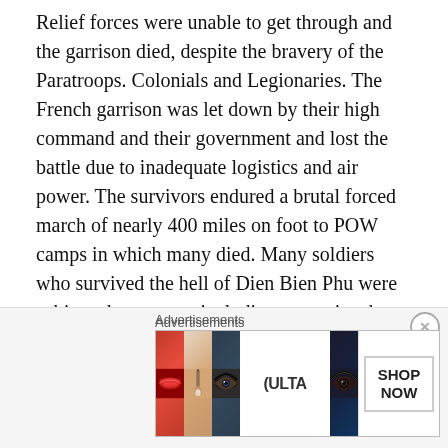Relief forces were unable to get through and the garrison died, despite the bravery of the Paratroops. Colonials and Legionaries. The French garrison was let down by their high command and their government and lost the battle due to inadequate logistics and air power. The survivors endured a brutal forced march of nearly 400 miles on foot to POW camps in which many died. Many soldiers who survived the hell of Dien Bien Phu were subjected to torture, including a practice that we call “water boarding.” General Georges Catroux who presided over the official inquiry into the debacle at Dien Bien Phu wrote in his memoirs: “It is obvious that there was, on the part of our commanding structure, an excess of
[Figure (photo): Ulta Beauty advertisement banner showing close-up beauty images (lips with red lipstick, makeup brush, eye with dramatic makeup, Ulta logo, eye close-up) with SHOP NOW button]
Advertisements